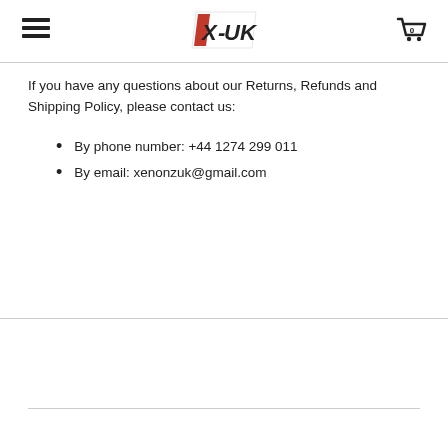X-UK [logo] | hamburger menu | cart (0)
If you have any questions about our Returns, Refunds and Shipping Policy, please contact us:
By phone number: +44 1274 299 011
By email: xenonzuk@gmail.com